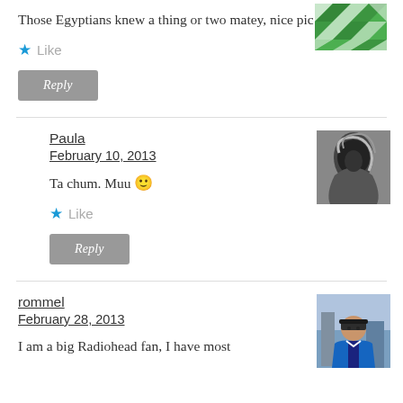Those Egyptians knew a thing or two matey, nice pic BTW
[Figure (illustration): Green and white geometric/diamond pattern avatar in top right]
★ Like
Reply
Paula
February 10, 2013
[Figure (photo): Black and white photo of a person with long dark hair]
Ta chum. Muu 🙂
★ Like
Reply
rommel
February 28, 2013
[Figure (photo): Color photo of a man wearing a cap and blue jacket]
I am a big Radiohead fan, I have most